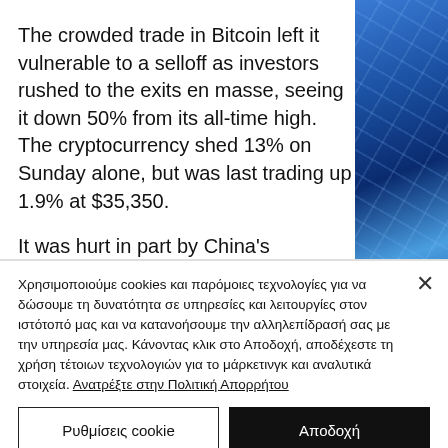The crowded trade in Bitcoin left it vulnerable to a selloff as investors rushed to the exits en masse, seeing it down 50% from its all-time high. The cryptocurrency shed 13% on Sunday alone, but was last trading up 1.9% at $35,350.
It was hurt in part by China's crackdown
[Figure (photo): Blue abstract background with grid/network lines, used as decorative image on the right side of the article]
Χρησιμοποιούμε cookies και παρόμοιες τεχνολογίες για να δώσουμε τη δυνατότητα σε υπηρεσίες και λειτουργίες στον ιστότοπό μας και να κατανοήσουμε την αλληλεπίδρασή σας με την υπηρεσία μας. Κάνοντας κλικ στο Αποδοχή, αποδέχεστε τη χρήση τέτοιων τεχνολογιών για το μάρκετινγκ και αναλυτικά στοιχεία. Ανατρέξτε στην Πολιτική Απορρήτου
Ρυθμίσεις cookie
Αποδοχή